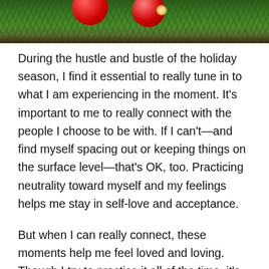[Figure (photo): Close-up photo of red Christmas ornaments hanging on a pine tree with bokeh background]
During the hustle and bustle of the holiday season, I find it essential to really tune in to what I am experiencing in the moment. It's important to me to really connect with the people I choose to be with. If I can't—and find myself spacing out or keeping things on the surface level—that's OK, too. Practicing neutrality toward myself and my feelings helps me stay in self-love and acceptance.
But when I can really connect, these moments help me feel loved and loving. Though I try to practice it all of the time, it's even more important during the holidays, as people are voluntarily creating a stressed out, anxious, and hurried environment. I make it a point to fully experience the rich opportunities within my reach and create meaningful holiday moments.